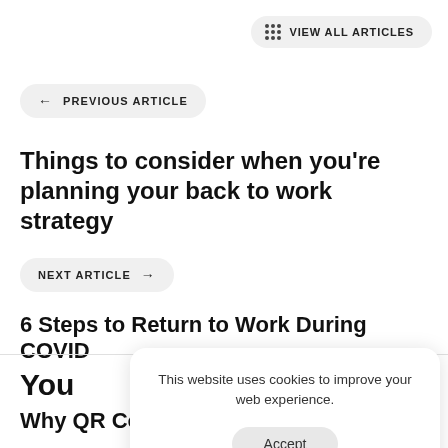VIEW ALL ARTICLES
← PREVIOUS ARTICLE
Things to consider when you're planning your back to work strategy
NEXT ARTICLE →
6 Steps to Return to Work During COVID
You
This website uses cookies to improve your web experience.
Accept
Why QR Code Booking is the Future